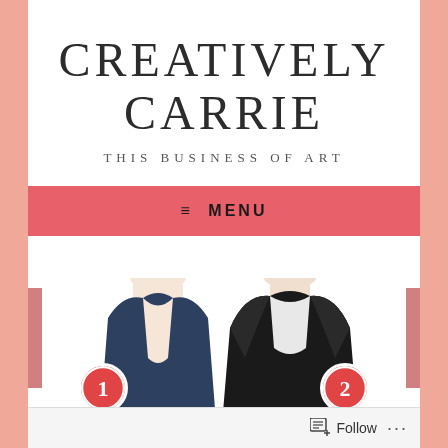CREATIVELY CARRIE
THIS BUSINESS OF ART
≡  MENU
[Figure (illustration): Two illustrated manga-style figures, one in dark blue clothing on the left with a number 1 badge, and one in black jacket on the right with a number 2 badge, partially visible at the bottom of the page]
Follow ...